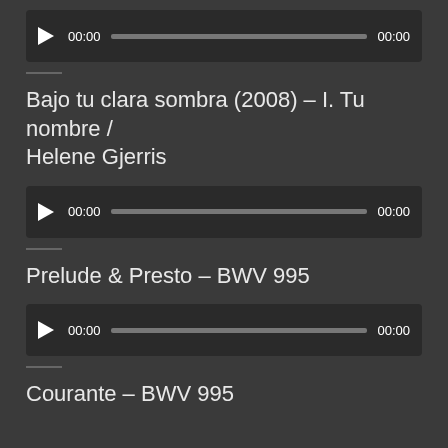[Figure (other): Audio player widget with play button, progress bar showing 00:00 start and 00:00 end time]
—
Bajo tu clara sombra (2008) – I. Tu nombre / Helene Gjerris
[Figure (other): Audio player widget with play button, progress bar showing 00:00 start and 00:00 end time]
—
Prelude & Presto – BWV 995
[Figure (other): Audio player widget with play button, progress bar showing 00:00 start and 00:00 end time]
—
Courante – BWV 995